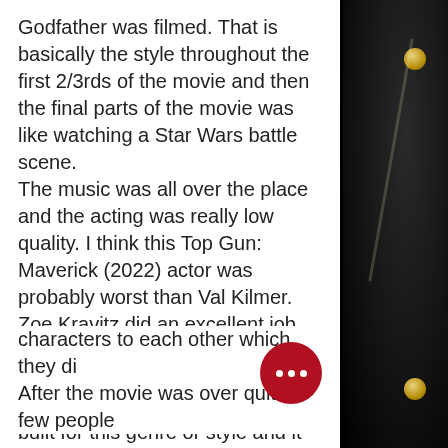Godfather was filmed. That is basically the style throughout the first 2/3rds of the movie and then the final parts of the movie was like watching a Star Wars battle scene. The music was all over the place and the acting was really low quality. I think this Top Gun: Maverick (2022) actor was probably worst than Val Kilmer. Zoe Kravitz did an excellent job as Catwoman and she was probably the best part of this film. The rest of the actors were not built for this genre or style and it showed with their weird and quirky expressions. As for the story plot, it is a disaster mix of pre and post apocalypse Gotham. It is clear they were going for the events leading up to the apocalyptic downfall of Gotham while merging elements of post-Gotham. They jumped around too much and tried to tie characters to each other which they did. After the movie was over quite a few people
[Figure (other): Dark leather background with gold studs visible on the right side of the page]